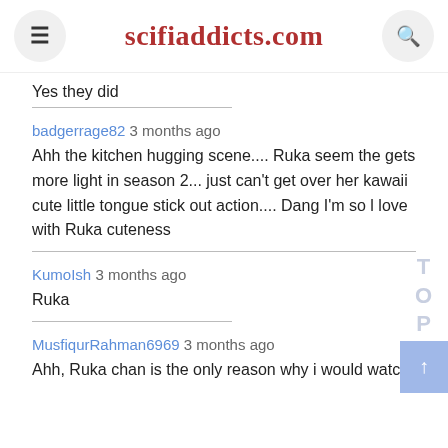scifiaddicts.com
Yes they did
badgerrage82 3 months ago
Ahh the kitchen hugging scene.... Ruka seem the gets more light in season 2... just can't get over her kawaii cute little tongue stick out action.... Dang I'm so l love with Ruka cuteness
KumoIsh 3 months ago
Ruka
MusfiqurRahman6969 3 months ago
Ahh, Ruka chan is the only reason why i would watch